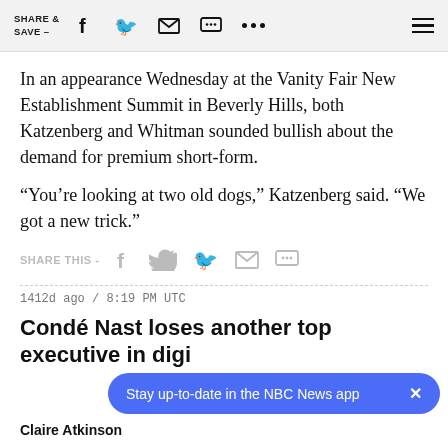SHARE & SAVE –
In an appearance Wednesday at the Vanity Fair New Establishment Summit in Beverly Hills, both Katzenberg and Whitman sounded bullish about the demand for premium short-form.
“You’re looking at two old dogs,” Katzenberg said. “We got a new trick.”
SHARE THIS -
1412d ago / 8:19 PM UTC
Condé Nast loses another top executive in digi…
Stay up-to-date in the NBC News app
Claire Atkinson